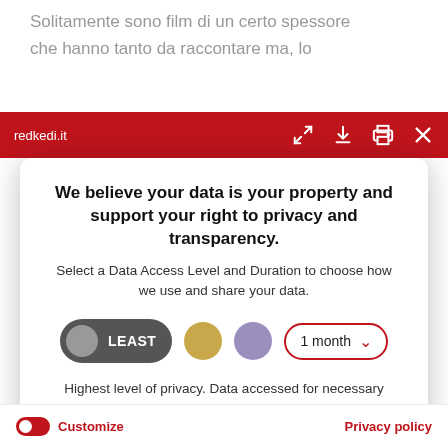Solitamente sono film di un certo spessore che hanno tanto da raccontare ma, lo...
redkedi.it
We believe your data is your property and support your right to privacy and transparency.
Select a Data Access Level and Duration to choose how we use and share your data.
LEAST | 1 month
Highest level of privacy. Data accessed for necessary basic operations only. Data shared with 3rd parties to ensure the site is secure and works on your device
Save my preferences
Customize
Privacy policy